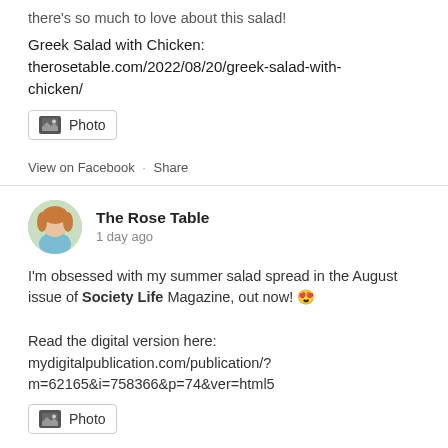there's so much to love about this salad!
Greek Salad with Chicken:
therosetable.com/2022/08/20/greek-salad-with-chicken/
[Figure (other): Photo attachment button with image icon]
View on Facebook · Share
The Rose Table
1 day ago
I'm obsessed with my summer salad spread in the August issue of Society Life Magazine, out now! 😍

Read the digital version here:
mydigitalpublication.com/publication/?m=62165&i=758366&p=74&ver=html5
[Figure (other): Photo attachment button with image icon]
View on Facebook · Share